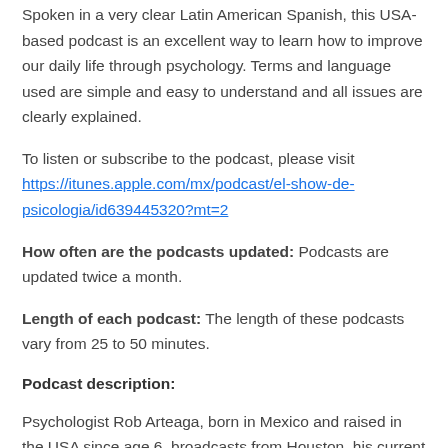Spoken in a very clear Latin American Spanish, this USA-based podcast is an excellent way to learn how to improve our daily life through psychology. Terms and language used are simple and easy to understand and all issues are clearly explained.
To listen or subscribe to the podcast, please visit https://itunes.apple.com/mx/podcast/el-show-de-psicologia/id639445320?mt=2
How often are the podcasts updated: Podcasts are updated twice a month.
Length of each podcast: The length of these podcasts vary from 25 to 50 minutes.
Podcast description:
Psychologist Rob Arteaga, born in Mexico and raised in the USA since age 6, broadcasts from Houston, his current residence. He